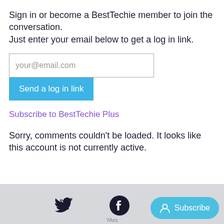Sign in or become a BestTechie member to join the conversation.
Just enter your email below to get a log in link.
your@email.com
Send a log in link
Subscribe to BestTechie Plus
Sorry, comments couldn't be loaded. It looks like this account is not currently active.
[Figure (other): Footer bar with Twitter bird icon, Facebook circle icon, and a blue rounded Subscribe button with person icon]
YAes